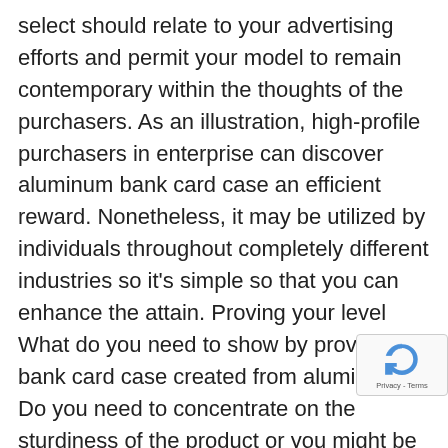select should relate to your advertising efforts and permit your model to remain contemporary within the thoughts of the purchasers. As an illustration, high-profile purchasers in enterprise can discover aluminum bank card case an efficient reward. Nonetheless, it may be utilized by individuals throughout completely different industries so it's simple so that you can enhance the attain. Proving your level What do you need to show by providing bank card case created from aluminum? Do you need to concentrate on the sturdiness of the product or you might be eager to inform the purchasers that bank cards will keep secure inside this case as an alternative of carrying them within the traditional leather-based pockets. It doesn't matter what the last word level is, it's essential to by no means transfer away from the aim of return out of your choices. When you've got chosen this case and assume it'll fulfill your function then it is